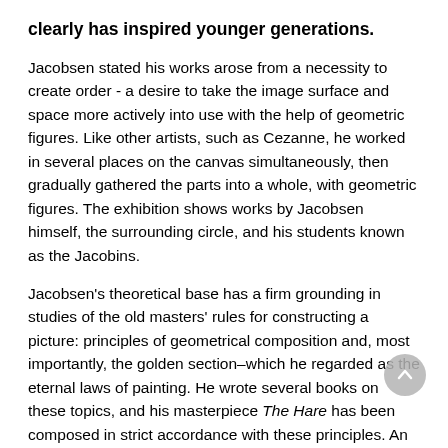clearly has inspired younger generations.
Jacobsen stated his works arose from a necessity to create order - a desire to take the image surface and space more actively into use with the help of geometric figures. Like other artists, such as Cezanne, he worked in several places on the canvas simultaneously, then gradually gathered the parts into a whole, with geometric figures. The exhibition shows works by Jacobsen himself, the surrounding circle, and his students known as the Jacobins.
Jacobsen's theoretical base has a firm grounding in studies of the old masters' rules for constructing a picture: principles of geometrical composition and, most importantly, the golden section–which he regarded as the eternal laws of painting. He wrote several books on these topics, and his masterpiece The Hare has been composed in strict accordance with these principles. An extensive exhibition that presents Georg Jacobsen's art can be seen at Trondheim kunstmuseum, Gråmølna. Haren was purchased
from the school and exhibition in Trondheim Kunstforening in...